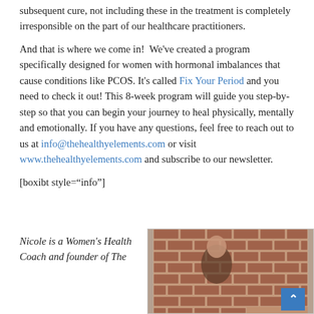subsequent cure, not including these in the treatment is completely irresponsible on the part of our healthcare practitioners.
And that is where we come in!  We've created a program specifically designed for women with hormonal imbalances that cause conditions like PCOS. It's called Fix Your Period and you need to check it out! This 8-week program will guide you step-by-step so that you can begin your journey to heal physically, mentally and emotionally. If you have any questions, feel free to reach out to us at info@thehealthyelements.com or visit www.thehealthyelements.com and subscribe to our newsletter.
[boxibt style="info"]
Nicole is a Women's Health Coach and founder of The
[Figure (photo): Photo of a person standing in front of a brick wall, partially visible; blue scroll-up button in bottom right corner]